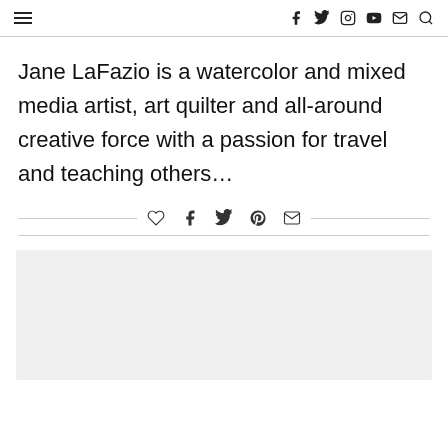≡ f 𝕏 ◎ ▶ ✉ 🔍
Jane LaFazio is a watercolor and mixed media artist, art quilter and all-around creative force with a passion for travel and teaching others…
[Figure (other): Social sharing icons row: heart, facebook, twitter, pinterest, email]
[Figure (other): Advertisement placeholder box (light gray rectangle)]